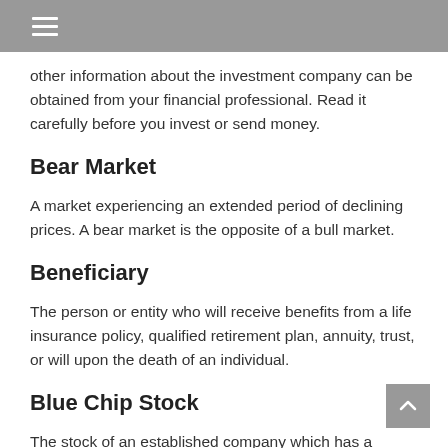other information about the investment company can be obtained from your financial professional. Read it carefully before you invest or send money.
Bear Market
A market experiencing an extended period of declining prices. A bear market is the opposite of a bull market.
Beneficiary
The person or entity who will receive benefits from a life insurance policy, qualified retirement plan, annuity, trust, or will upon the death of an individual.
Blue Chip Stock
The stock of an established company which has a history